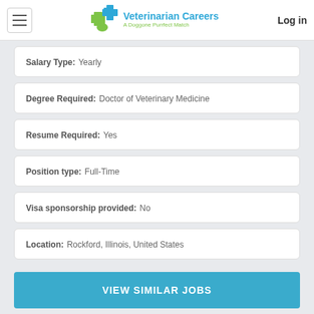Veterinarian Careers — A Doggone Purrfect Match | Log in
Salary Type: Yearly
Degree Required: Doctor of Veterinary Medicine
Resume Required: Yes
Position type: Full-Time
Visa sponsorship provided: No
Location: Rockford, Illinois, United States
VIEW SIMILAR JOBS